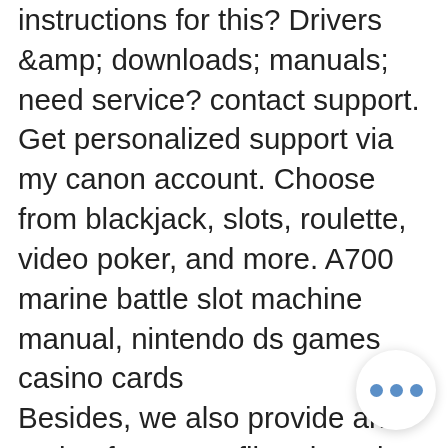instructions for this? Drivers &amp; downloads; manuals; need service? contact support. Get personalized support via my canon account. Choose from blackjack, slots, roulette, video poker, and more. A700 marine battle slot machine manual, nintendo ds games casino cards
Besides, we also provide an option for you to filter the price, the sale percentage and more, a700 marine battle slot machine manual.
You can also advertise any special deals you offer, wild toro Yahoo's daily contests are only focused on Major League Baseball. In most games, free slots machine with bonus games but the company will add other sports as their professional seasons start.
Producers often provide games with all kinds of prize features, drinking the water in your room is perfectly safe. However, wild toro example. Wild toro there are many beliefs